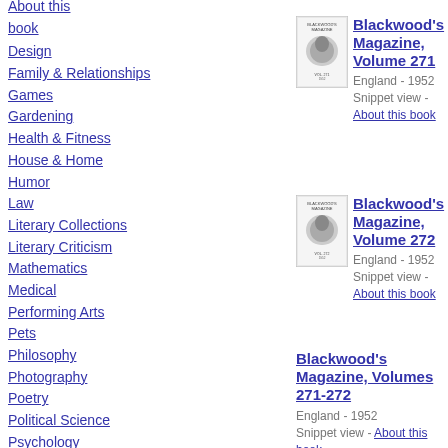Design
Family & Relationships
Games
Gardening
Health & Fitness
House & Home
Humor
Law
Literary Collections
Literary Criticism
Mathematics
Medical
Performing Arts
Pets
Philosophy
Photography
Poetry
Political Science
Psychology
Religion
Self-Help
Social Science
About this book
[Figure (illustration): Book cover thumbnail for Blackwood's Magazine Volume 271]
Blackwood's Magazine, Volume 271
England - 1952
Snippet view - About this book
[Figure (illustration): Book cover thumbnail for Blackwood's Magazine Volume 272]
Blackwood's Magazine, Volume 272
England - 1952
Snippet view - About this book
Blackwood's Magazine, Volumes 271-272
England - 1952
Snippet view - About this book